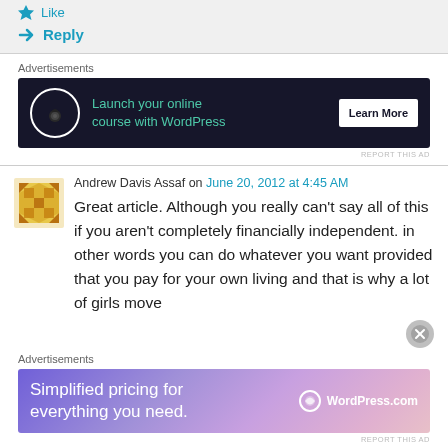Like
Reply
Advertisements
[Figure (screenshot): Dark banner ad: Launch your online course with WordPress. Learn More button.]
REPORT THIS AD
Andrew Davis Assaf on June 20, 2012 at 4:45 AM
Great article. Although you really can’t say all of this if you aren’t completely financially independent. in other words you can do whatever you want provided that you pay for your own living and that is why a lot of girls move
Advertisements
[Figure (screenshot): Gradient banner ad: Simplified pricing for everything you need. WordPress.com logo.]
REPORT THIS AD